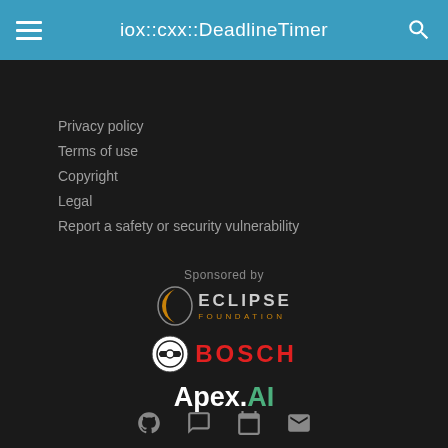iox::cxx::DeadlineTimer
Privacy policy
Terms of use
Copyright
Legal
Report a safety or security vulnerability
Sponsored by
[Figure (logo): Eclipse Foundation logo with crescent moon icon and 'ECLIPSE FOUNDATION' text]
[Figure (logo): Bosch logo with circular icon and red 'BOSCH' text]
[Figure (logo): Apex.AI logo with white 'Apex.' and green 'AI' text]
GitHub, Chat, Calendar, Email social icons